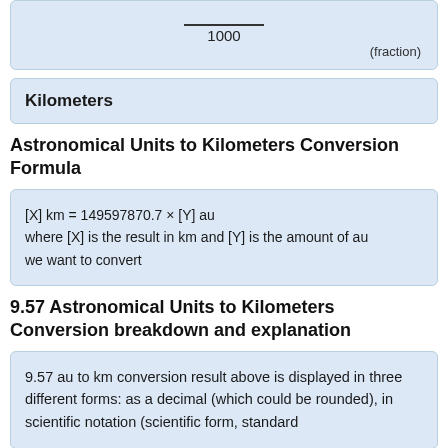fraction with numerator (line) and denominator 1000, labeled (fraction)
Kilometers
Astronomical Units to Kilometers Conversion Formula
9.57 Astronomical Units to Kilometers Conversion breakdown and explanation
9.57 au to km conversion result above is displayed in three different forms: as a decimal (which could be rounded), in scientific notation (scientific form, standard index form or standard form in the United Kingdom) and as a fraction (exact result).